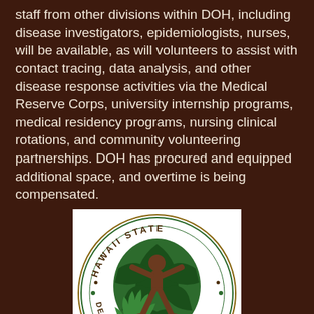staff from other divisions within DOH, including disease investigators, epidemiologists, nurses, will be available, as will volunteers to assist with contact tracing, data analysis, and other disease response activities via the Medical Reserve Corps, university internship programs, medical residency programs, nursing clinical rotations, and community volunteering partnerships. DOH has procured and equipped additional space, and overtime is being compensated.
[Figure (logo): Hawaii State Department of Health circular seal/logo with green tropical foliage and a brown human figure in the center, surrounded by text reading 'HAWAII STATE DEPARTMENT OF HEALTH']
Tomiyasu said contact tracing is a key component of tracking and preventing future COVID-19 cases in the state, but that it's just one tool the department uses. Hawai'i State